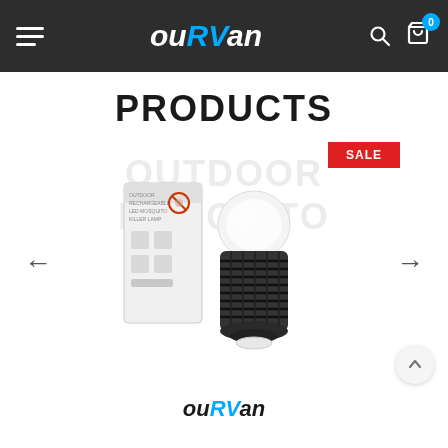ouRVan — navigation header with hamburger menu, logo, search and cart icons
PRODUCTS
[Figure (photo): Product image of a mosquito killer lamp device (bug zapper lantern) shown next to its box, with a SALE badge in the top-right area and navigation arrows on left and right.]
ouRVan logo footer